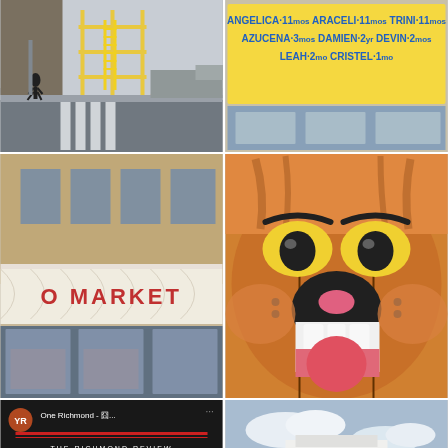[Figure (photo): Street scene with scaffolding, yellow ladder, pedestrian crossing, truck, man walking on sidewalk in urban setting]
[Figure (photo): Yellow sign with names: ANGELICA 11mos, ARACELI 11mos, TRINI 11mos, AZUCENA 3mos, DAMIEN 2mos, DEVIN 2mos, LEAH 2mos, CRISTEL 1mo]
[Figure (photo): Storefront with white awning reading 'O MARKET' in red letters, store window display below]
[Figure (photo): Close-up of cartoon cat mural painting (Tom-like character) with orange fur, yellow eyes, showing teeth, on wall panels]
[Figure (photo): Social media post: One Richmond - Best of The Richmond 2022 Services Survey - Closes Soon - Have Your Say - VOTE - black and red background]
[Figure (photo): White Art Deco style building exterior, low-angle upward view, blue sky, dark windows, curved architectural details]